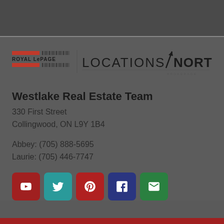[Figure (logo): Royal LePage Locations North Brokerage logo]
Westlake Real Estate Team
330 First Street
Collingwood, ON L9Y 1B4
Abbey: (705) 888-5695
Laurie: (705) 446-7747
[Figure (infographic): Social media icons row: YouTube, Twitter, Pinterest, Facebook, Email]